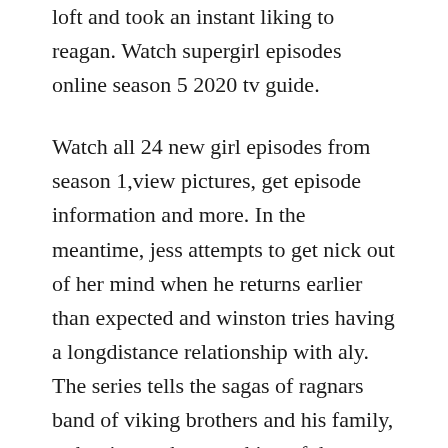loft and took an instant liking to reagan. Watch supergirl episodes online season 5 2020 tv guide.
Watch all 24 new girl episodes from season 1,view pictures, get episode information and more. In the meantime, jess attempts to get nick out of her mind when he returns earlier than expected and winston tries having a longdistance relationship with aly. The series tells the sagas of ragnars band of viking brothers and his family, as he rises to become king of the viking tribes. The fifth season of